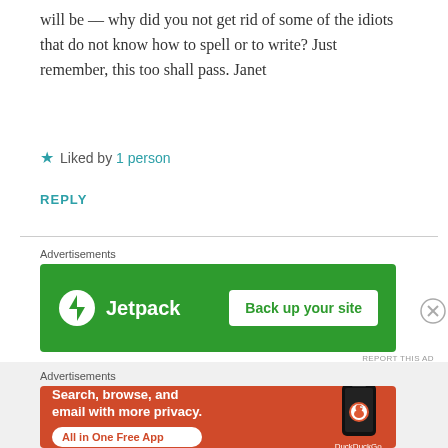will be –– why did you not get rid of some of the idiots that do not know how to spell or to write? Just remember, this too shall pass. Janet
★ Liked by 1 person
REPLY
[Figure (other): Jetpack advertisement banner: green background with Jetpack logo and 'Back up your site' button]
[Figure (other): DuckDuckGo advertisement banner: orange/red background with 'Search, browse, and email with more privacy. All in One Free App' and phone image with DuckDuckGo logo]